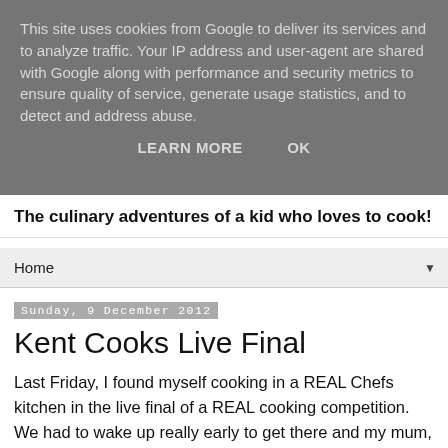This site uses cookies from Google to deliver its services and to analyze traffic. Your IP address and user-agent are shared with Google along with performance and security metrics to ensure quality of service, generate usage statistics, and to detect and address abuse.
LEARN MORE    OK
The culinary adventures of a kid who loves to cook!
Home ▼
Sunday, 9 December 2012
Kent Cooks Live Final
Last Friday, I found myself cooking in a REAL Chefs kitchen in the live final of a REAL cooking competition. We had to wake up really early to get there and my mum, dad and baby sister took me there. I was cooking a recipe I had invented myself. It was called Seasonal Summer Frittata and you can find the recipe here if you want to try to make it yourself.